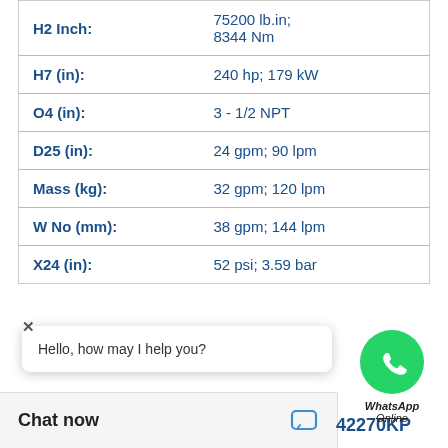| Parameter | Value |
| --- | --- |
| H2 Inch: | 75200 lb.in; 8344 Nm |
| H7 (in): | 240 hp; 179 kW |
| O4 (in): | 3 - 1/2 NPT |
| D25 (in): | 24 gpm; 90 lpm |
| Mass (kg): | 32 gpm; 120 lpm |
| W No (mm): | 38 gpm; 144 lpm |
| X24 (in): | 52 psi; 3.59 bar |
[Figure (illustration): WhatsApp Online chat widget with green phone icon and 'WhatsApp Online' text]
Hello, how may I help you?
Chat now
42270KP